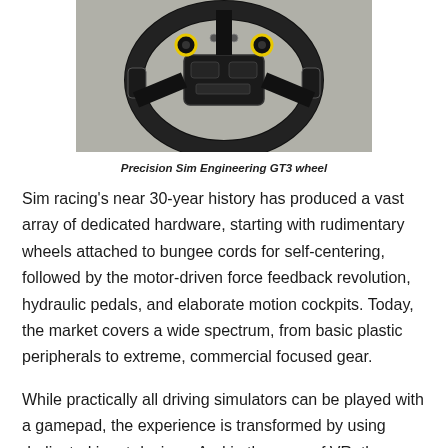[Figure (photo): A Precision Sim Engineering GT3 steering wheel with carbon fiber construction, yellow-rimmed rotary encoders, and metallic buttons/paddles, shown against a light grey background.]
Precision Sim Engineering GT3 wheel
Sim racing's near 30-year history has produced a vast array of dedicated hardware, starting with rudimentary wheels attached to bungee cords for self-centering, followed by the motor-driven force feedback revolution, hydraulic pedals, and elaborate motion cockpits. Today, the market covers a wide spectrum, from basic plastic peripherals to extreme, commercial focused gear.
While practically all driving simulators can be played with a gamepad, the experience is transformed by using dedicated input devices. And in the case of VR, the convincing